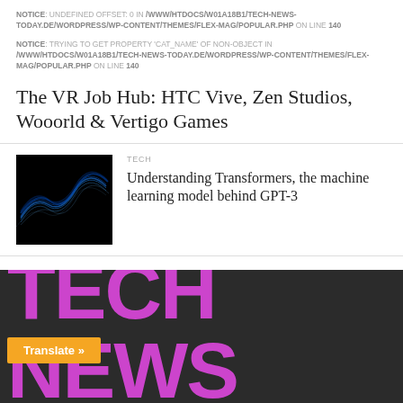NOTICE: UNDEFINED OFFSET: 0 IN /WWW/HTDOCS/W01A18B1/TECH-NEWS-TODAY.DE/WORDPRESS/WP-CONTENT/THEMES/FLEX-MAG/POPULAR.PHP ON LINE 140
NOTICE: TRYING TO GET PROPERTY 'CAT_NAME' OF NON-OBJECT IN /WWW/HTDOCS/W01A18B1/TECH-NEWS-TODAY.DE/WORDPRESS/WP-CONTENT/THEMES/FLEX-MAG/POPULAR.PHP ON LINE 140
The VR Job Hub: HTC Vive, Zen Studios, Wooorld & Vertigo Games
[Figure (photo): Dark abstract wave pattern on black background, blue flowing lines]
TECH
Understanding Transformers, the machine learning model behind GPT-3
TECH NEWS
Translate »